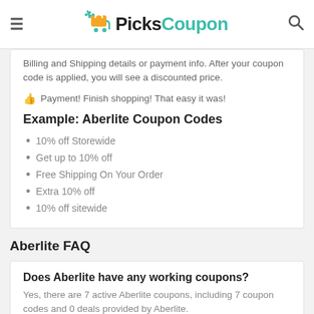PicksCoupon
Billing and Shipping details or payment info. After your coupon code is applied, you will see a discounted price.
Payment! Finish shopping! That easy it was!
Example: Aberlite Coupon Codes
10% off Storewide
Get up to 10% off
Free Shipping On Your Order
Extra 10% off
10% off sitewide
Aberlite FAQ
Does Aberlite have any working coupons?
Yes, there are 7 active Aberlite coupons, including 7 coupon codes and 0 deals provided by Aberlite.